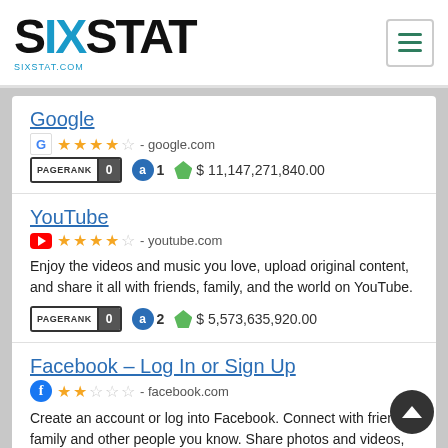SIXSTAT — sixstat.com
Google
G ★★★½☆ - google.com
PAGERANK 0   a 1   $ 11,147,271,840.00
YouTube
▶ ★★★★½ - youtube.com
Enjoy the videos and music you love, upload original content, and share it all with friends, family, and the world on YouTube.
PAGERANK 0   a 2   $ 5,573,635,920.00
Facebook – Log In or Sign Up
f ★★☆☆☆ - facebook.com
Create an account or log into Facebook. Connect with friends, family and other people you know. Share photos and videos, send messages and get updates.
PAGERANK 0   a 3   $ 3,715,757,280.00